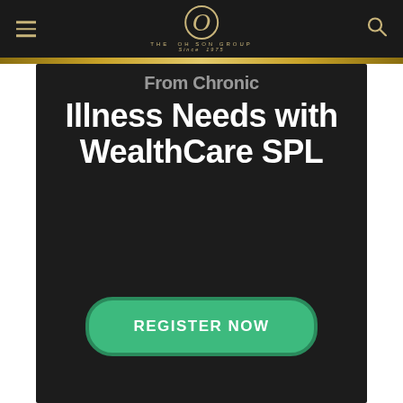THE OHISON GROUP Since 1975
Illness Needs with WealthCare SPL
REGISTER NOW